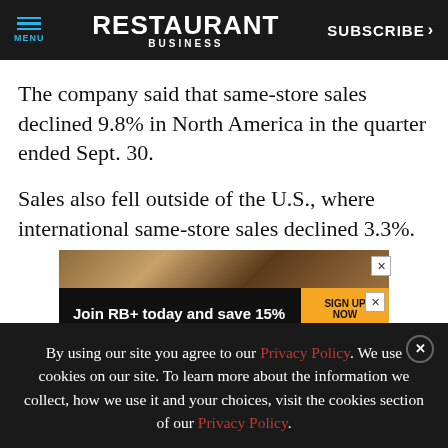MENU | RESTAURANT BUSINESS | SUBSCRIBE >
The company said that same-store sales declined 9.8% in North America in the quarter ended Sept. 30.
Sales also fell outside of the U.S., where international same-store sales declined 3.3%.
[Figure (screenshot): Advertisement banner: Join RB+ today and save 15% with code RBWELCOME22. Sign Up Now button in orange.]
By using our site you agree to our Privacy Policy. We use cookies on our site. To learn more about the information we collect, how we use it and your choices, visit the cookies section of our Privacy Policy.